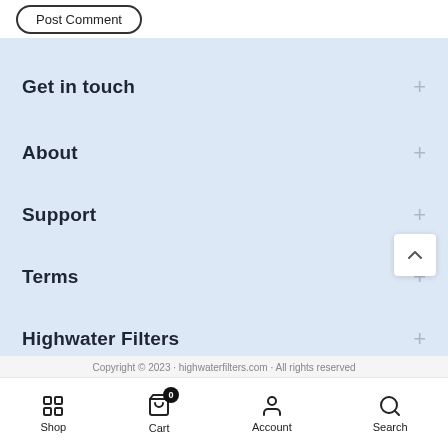Post Comment
Get in touch
About
Support
Terms
Highwater Filters
Shop  Cart  Account  Search